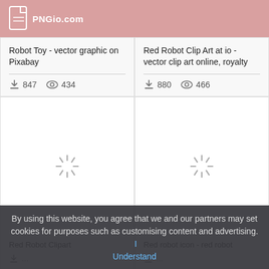PNGio.com
Robot Toy - vector graphic on Pixabay
847 downloads  434 views
Red Robot Clip Art at io - vector clip art online, royalty
880 downloads  466 views
[Figure (illustration): Loading spinner icon on white background]
Red Robot Clipart
[Figure (illustration): Loading spinner icon on white background]
Red robot icon - red robot
By using this website, you agree that we and our partners may set cookies for purposes such as customising content and advertising.  I Understand